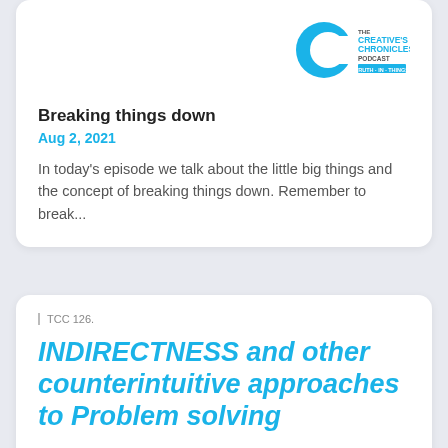[Figure (logo): The Creative's Chronicles Podcast logo — blue C shape with text]
Breaking things down
Aug 2, 2021
In today's episode we talk about the little big things and the concept of breaking things down. Remember to break...
TCC 126.
INDIRECTNESS and other counterintuitive approaches to Problem solving